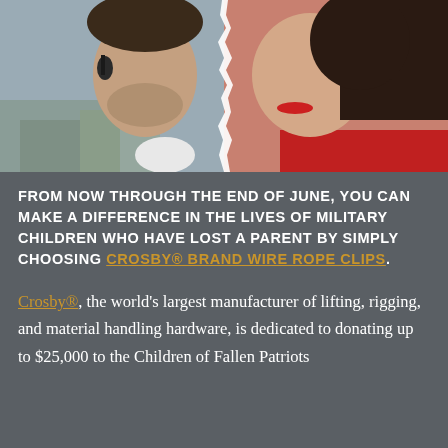[Figure (photo): Torn photo showing a soldier in camouflage on the left half and a woman in a red top on the right half, faces close together, photo torn/split down the middle]
FROM NOW THROUGH THE END OF JUNE, YOU CAN MAKE A DIFFERENCE IN THE LIVES OF MILITARY CHILDREN WHO HAVE LOST A PARENT BY SIMPLY CHOOSING CROSBY® BRAND WIRE ROPE CLIPS.
Crosby®, the world's largest manufacturer of lifting, rigging, and material handling hardware, is dedicated to donating up to $25,000 to the Children of Fallen Patriots